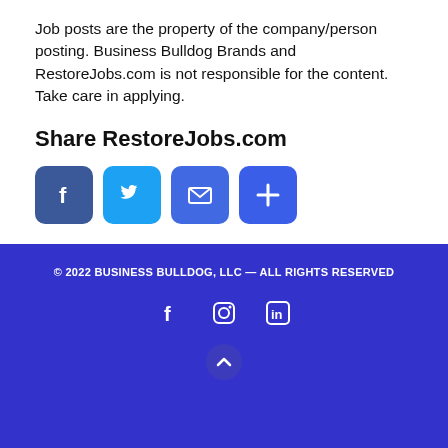Job posts are the property of the company/person posting. Business Bulldog Brands and RestoreJobs.com is not responsible for the content. Take care in applying.
Share RestoreJobs.com
[Figure (infographic): Row of four social share buttons: Facebook (blue with f icon), Twitter (blue with bird icon), Email (blue with envelope icon), Share/Plus (blue with + icon)]
© 2022 BUSINESS BULLDOG, LLC — ALL RIGHTS RESERVED
[Figure (infographic): Footer social icons row: Facebook, Instagram, LinkedIn in white on blue background]
[Figure (infographic): Scroll-to-top button: white chevron up arrow in dark circle on blue background]